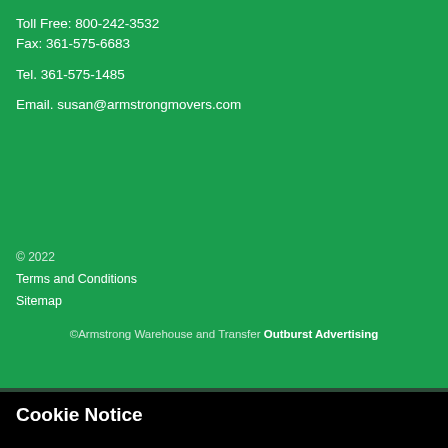Toll Free: 800-242-3532
Fax: 361-575-6683
Tel. 361-575-1485
Email. susan@armstrongmovers.com
© 2022
Terms and Conditions
Sitemap
©Armstrong Warehouse and Transfer Outburst Advertising
Cookie Notice